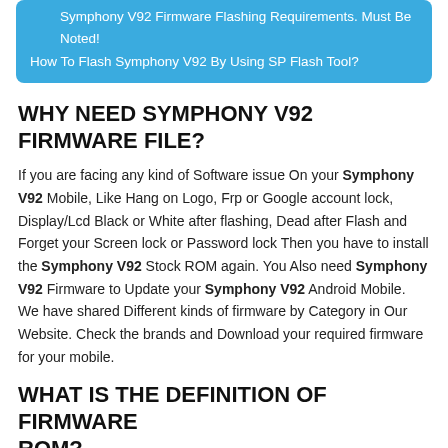Symphony V92 Firmware Flashing Requirements. Must Be Noted!
How To Flash Symphony V92 By Using SP Flash Tool?
WHY NEED SYMPHONY V92 FIRMWARE FILE?
If you are facing any kind of Software issue On your Symphony V92 Mobile, Like Hang on Logo, Frp or Google account lock, Display/Lcd Black or White after flashing, Dead after Flash and Forget your Screen lock or Password lock Then you have to install the Symphony V92 Stock ROM again. You Also need Symphony V92 Firmware to Update your Symphony V92 Android Mobile. We have shared Different kinds of firmware by Category in Our Website. Check the brands and Download your required firmware for your mobile.
WHAT IS THE DEFINITION OF FIRMWARE ROM?